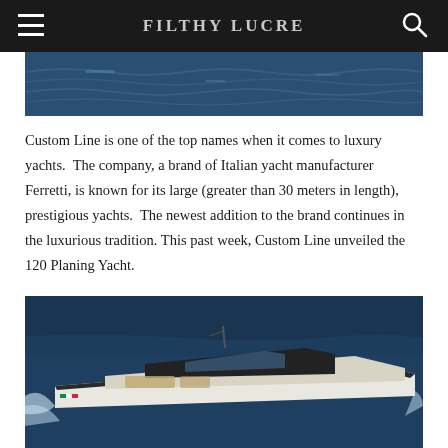FILTHY LUCRE
[Figure (photo): Ocean water surface, dark blue waves, partial view from yacht]
Custom Line is one of the top names when it comes to luxury yachts.  The company, a brand of Italian yacht manufacturer Ferretti, is known for its large (greater than 30 meters in length), prestigious yachts.  The newest addition to the brand continues in the luxurious tradition. This past week, Custom Line unveiled the 120 Planing Yacht.
[Figure (photo): Aerial view of the Custom Line 120 Planing Yacht cutting through ocean water, showing the sleek white and black hull with deck features]